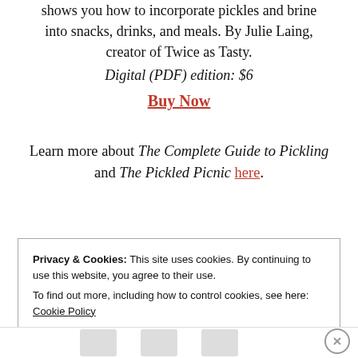shows you how to incorporate pickles and brine into snacks, drinks, and meals. By Julie Laing, creator of Twice as Tasty.
Digital (PDF) edition: $6
Buy Now
Learn more about The Complete Guide to Pickling and The Pickled Picnic here.
Privacy & Cookies: This site uses cookies. By continuing to use this website, you agree to their use.
To find out more, including how to control cookies, see here: Cookie Policy
Close and accept